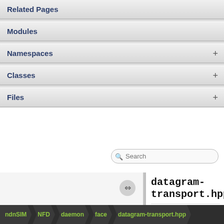Related Pages
Modules
Namespaces
Classes
Files
datagram-transport.hpp
Go to the documentation of this file.
ndnSIM > NFD > daemon > face > datagram-transport.hpp